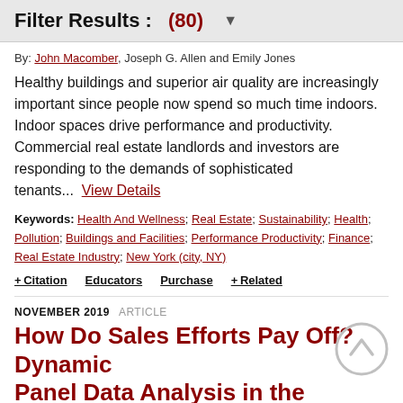Filter Results : (80) ▼
By: John Macomber, Joseph G. Allen and Emily Jones
Healthy buildings and superior air quality are increasingly important since people now spend so much time indoors. Indoor spaces drive performance and productivity. Commercial real estate landlords and investors are responding to the demands of sophisticated tenants...  View Details
Keywords: Health And Wellness; Real Estate; Sustainability; Health; Pollution; Buildings and Facilities; Performance Productivity; Finance; Real Estate Industry; New York (city, NY)
+ Citation   Educators   Purchase   + Related
NOVEMBER 2019  ARTICLE
How Do Sales Efforts Pay Off? Dynamic Panel Data Analysis in the Nerlove-Arrow Framework